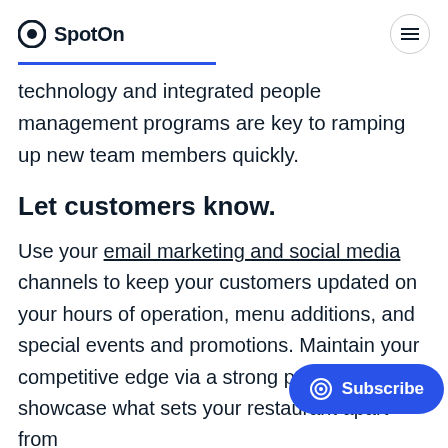SpotOn
technology and integrated people management programs are key to ramping up new team members quickly.
Let customers know.
Use your email marketing and social media channels to keep your customers updated on your hours of operation, menu additions, and special events and promotions. Maintain your competitive edge via a strong promotional ch… showcase what sets your restaurant apart from